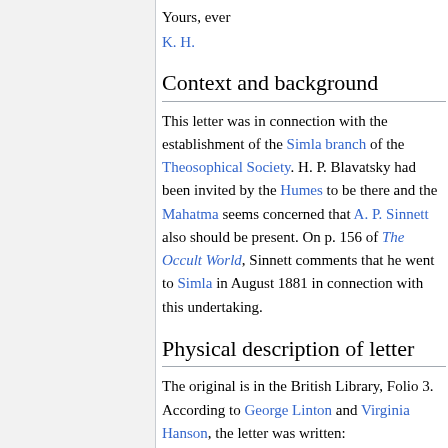Yours, ever
K. H.
Context and background
This letter was in connection with the establishment of the Simla branch of the Theosophical Society. H. P. Blavatsky had been invited by the Humes to be there and the Mahatma seems concerned that A. P. Sinnett also should be present. On p. 156 of The Occult World, Sinnett comments that he went to Simla in August 1881 in connection with this undertaking.
Physical description of letter
The original is in the British Library, Folio 3. According to George Linton and Virginia Hanson, the letter was written: